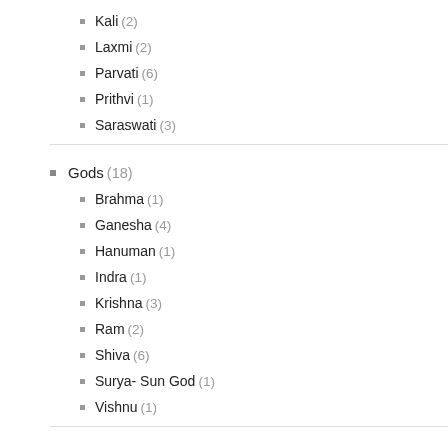Kali (2)
Laxmi (2)
Parvati (6)
Prithvi (1)
Saraswati (3)
Gods (18)
Brahma (1)
Ganesha (4)
Hanuman (1)
Indra (1)
Krishna (3)
Ram (2)
Shiva (6)
Surya- Sun God (1)
Vishnu (1)
Hindu Traditions (4)
Myth & Beyond (7)